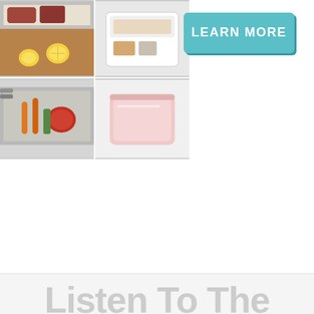[Figure (photo): A 2x2 grid of food/kitchen photos: top-left shows meat in a metal pan on a cutting board with lemons, top-right shows a white container with food items, bottom-left shows a metal pan with vegetables/food, bottom-right shows a pink/light colored storage container]
[Figure (other): A teal/cyan colored button with white bold text reading LEARN MORE, with a drop shadow effect]
Listen To The